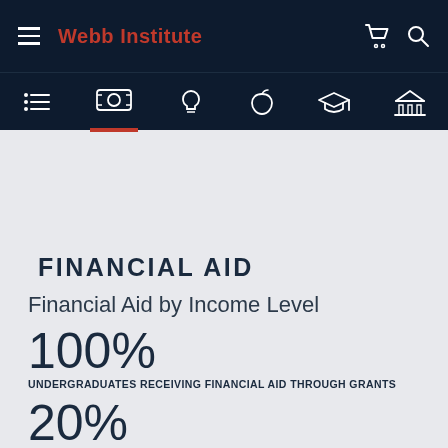Webb Institute
[Figure (screenshot): Website navigation bar for Webb Institute with hamburger menu, logo, cart icon, and search icon on dark navy background]
[Figure (infographic): Sub-navigation bar with icons: list/menu, financial aid (dollar), lightbulb, apple, graduation cap, building/institution. Financial aid icon is active with red underline.]
FINANCIAL AID
Financial Aid by Income Level
100%
UNDERGRADUATES RECEIVING FINANCIAL AID THROUGH GRANTS
20%